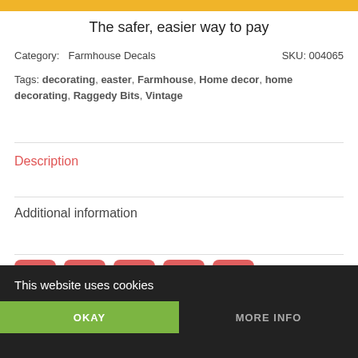[Figure (logo): Yellow/orange PayPal top bar banner]
The safer, easier way to pay
Category:  Farmhouse Decals    SKU: 004065
Tags: decorating, easter, Farmhouse, Home decor, home decorating, Raggedy Bits, Vintage
Description
Additional information
[Figure (infographic): Social sharing icons: Facebook, Pinterest, Twitter, Yummly, Email — all in red/salmon rounded square buttons]
This website uses cookies
OKAY
MORE INFO